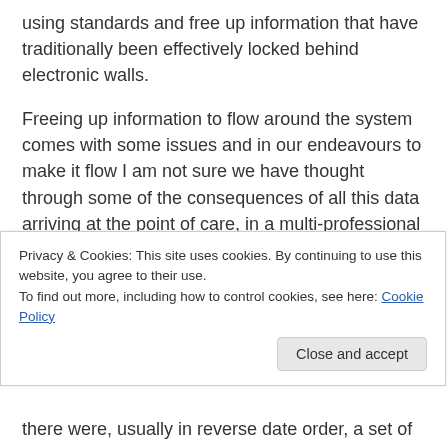using standards and free up information that have traditionally been effectively locked behind electronic walls.
Freeing up information to flow around the system comes with some issues and in our endeavours to make it flow I am not sure we have thought through some of the consequences of all this data arriving at the point of care, in a multi-professional context, that centres around the care of an individual person.
Back in the olden days, when I was a ward sister and subsequently investigating complaints, I was
Privacy & Cookies: This site uses cookies. By continuing to use this website, you agree to their use.
To find out more, including how to control cookies, see here: Cookie Policy
there were, usually in reverse date order, a set of